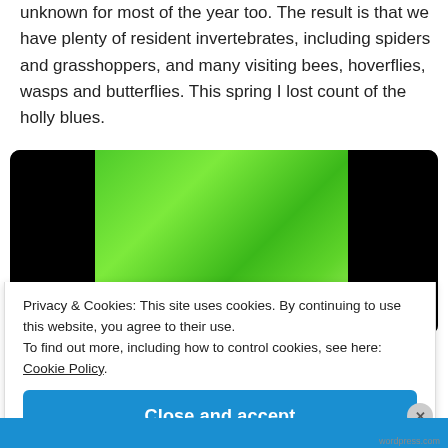unknown for most of the year too. The result is that we have plenty of resident invertebrates, including spiders and grasshoppers, and many visiting bees, hoverflies, wasps and butterflies. This spring I lost count of the holly blues.
[Figure (photo): Video player embedded in a dark rounded container showing a close-up of green leaves, with black bars on the left and right sides.]
Privacy & Cookies: This site uses cookies. By continuing to use this website, you agree to their use.
To find out more, including how to control cookies, see here: Cookie Policy.
Close and accept